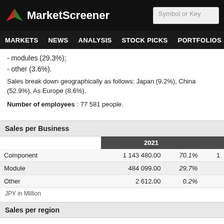MarketScreener | Symbol or Key
MARKETS NEWS ANALYSIS STOCK PICKS PORTFOLIOS WATCHLI
- modules (29.3%);
- other (3.6%).
Sales break down geographically as follows: Japan (9.2%), China (52.9%), As Europe (8.6%).
Number of employees : 77 581 people.
Sales per Business
|  | 2021 |  | 1 |
| --- | --- | --- | --- |
| Component | 1 143 480.00 | 70.1% | 1 |
| Module | 484 099.00 | 29.7% |  |
| Other | 2 612.00 | 0.2% |  |
JPY in Million
Sales per region